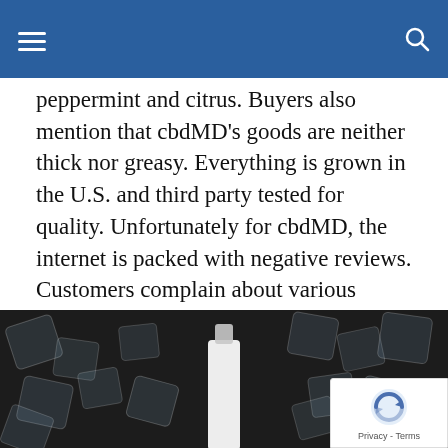peppermint and citrus. Buyers also mention that cbdMD’s goods are neither thick nor greasy. Everything is grown in the U.S. and third party tested for quality. Unfortunately for cbdMD, the internet is packed with negative reviews. Customers complain about various problems, including ineffective merchandise, rude customer service reps, lost Fed Ex packages that will not be refunded and receiving items without batch numbers.
Want to know more about the top CBD pain creams? Discover some of the most frequently asked questions…
[Figure (photo): Black and white photo of CBD cream bottle surrounded by ice cubes, with a reCAPTCHA Privacy – Terms badge in the bottom right corner.]